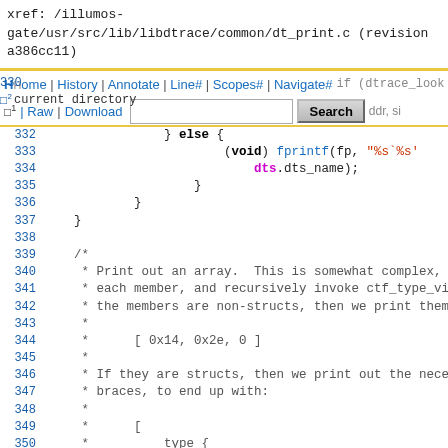xref: /illumos-gate/usr/src/lib/libdtrace/common/dt_print.c (revision a386cc11)
Home | History | Annotate | Line# | Scopes# | Navigate#
| Raw | Download   [Search button]  current directory
Code lines 330-354: if (dtrace_lookup_by_addr(pap->pa_... } else { (void) fprintf(fp, "%s`%s'... dts.dts_name); } } }
/* * Print out an array. This is somewhat complex, * each member, and recursively invoke ctf_type_vi * the members are non-structs, then we print them * * * [ 0x14, 0x2e, 0 ] * * If they are structs, then we print out the nece * braces, to end up with: * * * [ * type { * ... * }, * type { * ...